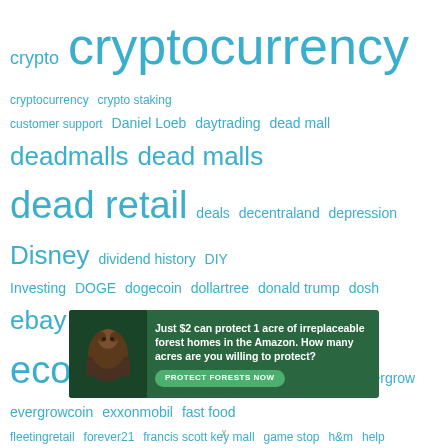[Figure (infographic): Tag cloud / word cloud of finance and investment related terms in various sizes in teal/cyan color. Terms include: crypto, cryptocurrency, cryptocurrency, crypto staking, customer support, Daniel Loeb, daytrading, dead mall, deadmalls, dead malls, dead retail, deals, decentraland, depression, Disney, dividend history, DIY, Investing, DOGE, dogecoin, dollartree, donald trump, dosh, ebay, ecommerce, economy, esg, ETFs, ethereum, evergrow, evergrowcoin, exxonmobil, fast food, fleetingretail, forever21, francis scott key mall, game stop, h&m, help, highdividendstocks, hustling, hypebeast, ibkr, interactivebrokers, investing, jcpenney, kmart, litecoin, luckincoffee, malls, mana, marketcrashes, marketing, market wizards, marlboro, marlboro adventure team, marlboro miles, mcdonalds, meditation, mercari, michael steinhardt, millennials, mutualfund, navient, networking, novavax, offerup, otc, stocks, pennsylvania, pennystocks, pizza, psychology, rakuten, rally]
[Figure (photo): Advertisement banner: green background with image of an orangutan. Text: Just $2 can protect 1 acre of irreplaceable forest homes in the Amazon. How many acres are you willing to protect? Button: PROTECT FORESTS NOW]